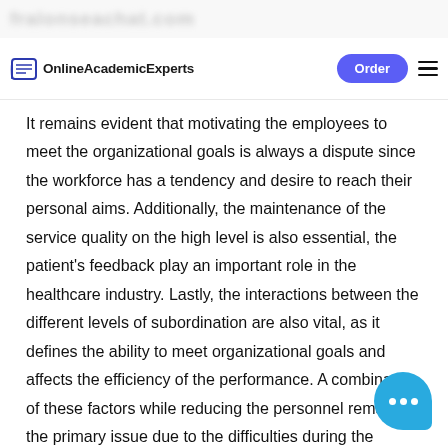OnlineAcademicExperts | Order
It remains evident that motivating the employees to meet the organizational goals is always a dispute since the workforce has a tendency and desire to reach their personal aims. Additionally, the maintenance of the service quality on the high level is also essential, the patient's feedback play an important role in the healthcare industry. Lastly, the interactions between the different levels of subordination are also vital, as it defines the ability to meet organizational goals and affects the efficiency of the performance. A combination of these factors while reducing the personnel remains the primary issue due to the difficulties during the implementation process, as these goals are hard to meet on the regular basis. The quality of the services